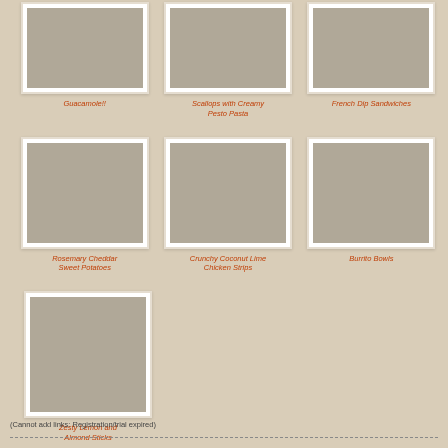[Figure (photo): Guacamole dish photo]
Guacamole!!
[Figure (photo): Scallops with Creamy Pesto Pasta photo]
Scallops with Creamy Pesto Pasta
[Figure (photo): French Dip Sandwiches photo]
French Dip Sandwiches
[Figure (photo): Rosemary Cheddar Sweet Potatoes photo]
Rosemary Cheddar Sweet Potatoes
[Figure (photo): Crunchy Coconut Lime Chicken Strips photo]
Crunchy Coconut Lime Chicken Strips
[Figure (photo): Burrito Bowls photo]
Burrito Bowls
[Figure (photo): Zesty Lemon and Almond Sticks photo]
Zesty Lemon and Almond Sticks
(Cannot add links: Registration/trial expired)